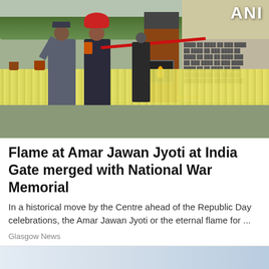[Figure (photo): Outdoor ceremony at National War Memorial / Amar Jawan Jyoti showing two uniformed officers (one in grey uniform, one in dark uniform with red turban) cutting a red ribbon in front of a brown monument with Hindi text 'Amar Jawan'. Yellow flowers fill the foreground. A crowd of spectators is visible on the right side. ANI news logo appears in top-right corner.]
Flame at Amar Jawan Jyoti at India Gate merged with National War Memorial
In a historical move by the Centre ahead of the Republic Day celebrations, the Amar Jawan Jyoti or the eternal flame for ...
Glasgow News
[Figure (photo): Partial view of next news article image, cropped at bottom of page]